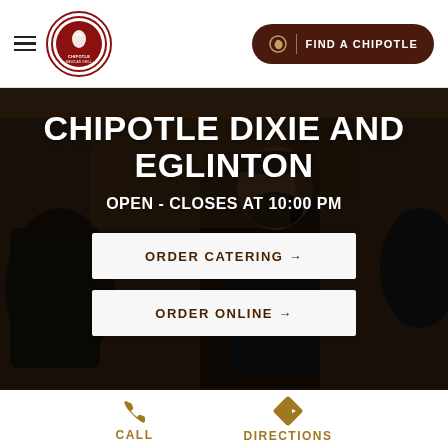Chipotle Mexican Grill — Find a Chipotle
[Figure (screenshot): Chipotle restaurant location page hero image showing masked employees working, with bold white text overlay for store name and status, plus order buttons]
CHIPOTLE DIXIE AND EGLINTON
OPEN - CLOSES AT 10:00 PM
ORDER CATERING →
ORDER ONLINE →
CALL
DIRECTIONS